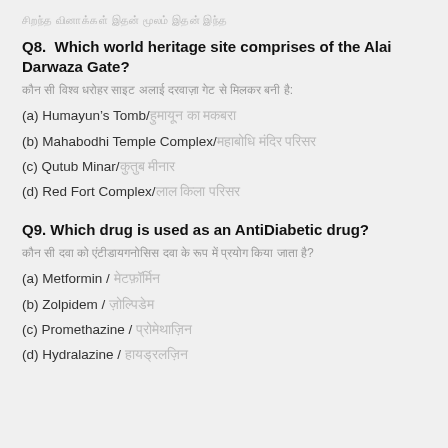xxxxxxx xxxxxxxx xx xxxxxx xx xxxx xxxx
Q8.  Which world heritage site comprises of the Alai Darwaza Gate?
xxx xxxxxxx xxx xxx xxxxx xxxxxx xxxx xxx xxxxxxxxx xx:
(a) Humayun’s Tomb/xxxxxxx xx xxxxx
(b) Mahabodhi Temple Complex/xxxxxxxx xxxxx xxxxx
(c) Qutub Minar/xxxxx xxxxx
(d) Red Fort Complex/xxx xxxx xxxxx
Q9. Which drug is used as an AntiDiabetic drug?
xxx xx xxx xx xxxxxx xxxxxxxxxxxxx xxx xx xxx xxx xxxx xxxx xx?
(a) Metformin / xxxxxxxxx
(b) Zolpidem / xxxxxxxxx
(c) Promethazine / xxxxxxxxxx
(d) Hydralazine / xxxxxxxxxxx